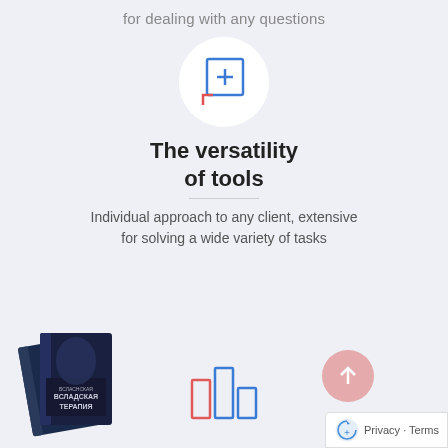for dealing with any questions
[Figure (illustration): White circle with a blue square outline containing a plus sign, with a red/orange L-shaped corner bracket at the bottom-left of the square]
The versatility of tools
Individual approach to any client, extensive for solving a wide variety of tasks
[Figure (photo): Stack of dark navy books with Cyrillic text on the cover, showing 'BCLAEHCKAR TEPАПИЯ']
[Figure (illustration): Bar chart icon with three bars in blue and red/pink colors]
[Figure (illustration): Pink/red semi-transparent circle with an upward arrow inside]
Privacy · Terms